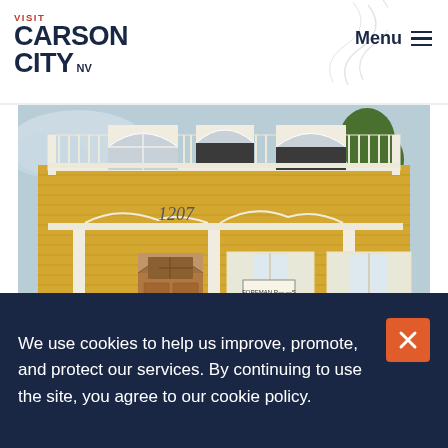VISIT CARSON CITY NV | Menu
[Figure (photo): Front facade of a historic yellow Victorian house numbered 1207, with white decorative trim, arched front door, and a balcony with ornate railings. A sign reads 'Foreman Roberts House'.]
We use cookies to help us improve, promote, and protect our services. By continuing to use the site, you agree to our cookie policy.